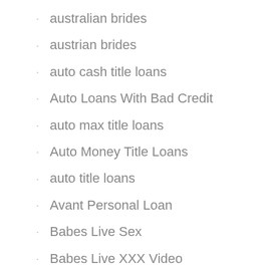australian brides
austrian brides
auto cash title loans
Auto Loans With Bad Credit
auto max title loans
Auto Money Title Loans
auto title loans
Avant Personal Loan
Babes Live Sex
Babes Live XXX Video
Bad Credit Arizona Online
Bad Credit Go Online